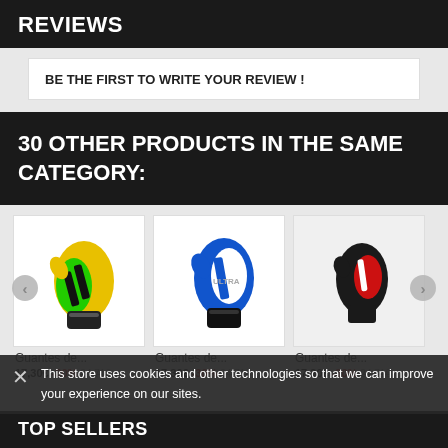REVIEWS
BE THE FIRST TO WRITE YOUR REVIEW !
30 OTHER PRODUCTS IN THE SAME CATEGORY:
[Figure (photo): Yellow and green boxing glove product image]
[Figure (photo): Blue and white boxing glove product image]
[Figure (photo): Black and red boxing glove product image]
Guantes de...
17,30€  -30%  24,71€
Guantes de...
17,30€  -30%  24,71€
Guantes de...
17,30€  -30%  24,71€
This store uses cookies and other technologies so that we can improve your experience on our sites.
TOP SELLERS